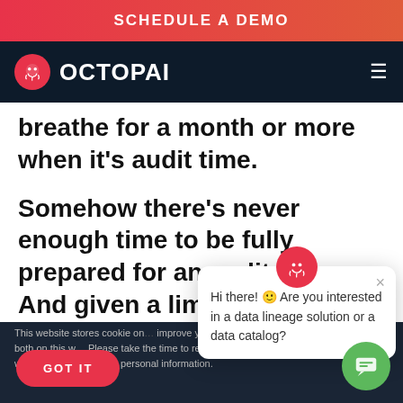SCHEDULE A DEMO
[Figure (logo): Octopai logo with octopus icon and hamburger menu on dark navy navigation bar]
breathe for a month or more when it's audit time.
Somehow there's never enough time to be fully prepared for an audit. Never. And given a limite... trace hundreds o...
This website stores cookie on... improve your website experie... services to you, both on this w... Please take the time to read t... it's important for you to know how we collect and use your personal information.
Hi there! 😊 Are you interested in a data lineage solution or a data catalog?